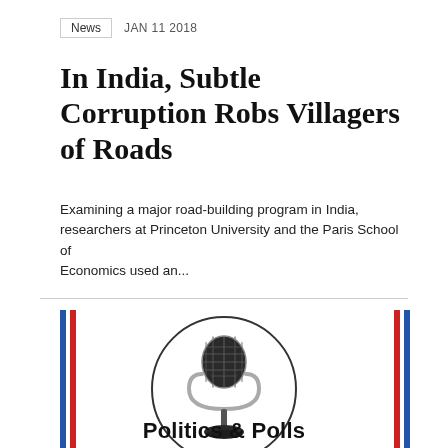News   JAN 11 2018
In India, Subtle Corruption Robs Villagers of Roads
Examining a major road-building program in India, researchers at Princeton University and the Paris School of Economics used an...
[Figure (logo): Politics & Polls podcast logo: a vintage microphone inside a circle, with blue and red vertical stripes on the left and right sides, and the text 'Politics & Polls' below]